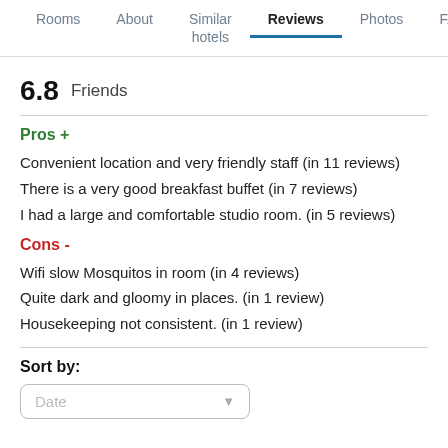Rooms  About  Similar hotels  Reviews  Photos  FAQ
6.8  Friends
Pros +
Convenient location and very friendly staff (in 11 reviews)
There is a very good breakfast buffet (in 7 reviews)
I had a large and comfortable studio room. (in 5 reviews)
Cons -
Wifi slow Mosquitos in room (in 4 reviews)
Quite dark and gloomy in places. (in 1 review)
Housekeeping not consistent. (in 1 review)
Sort by:
Date